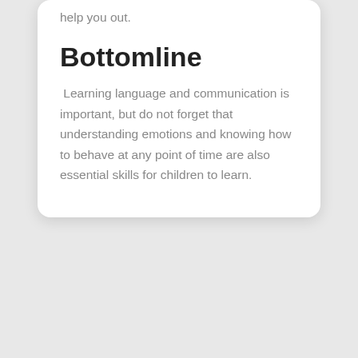help you out.
Bottomline
Learning language and communication is important, but do not forget that understanding emotions and knowing how to behave at any point of time are also essential skills for children to learn.